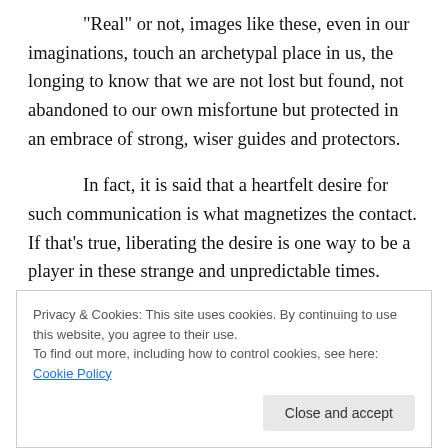“Real” or not, images like these, even in our imaginations, touch an archetypal place in us, the longing to know that we are not lost but found, not abandoned to our own misfortune but protected in an embrace of strong, wiser guides and protectors.
In fact, it is said that a heartfelt desire for such communication is what magnetizes the contact. If that’s true, liberating the desire is one way to be a player in these strange and unpredictable times.
Privacy & Cookies: This site uses cookies. By continuing to use this website, you agree to their use. To find out more, including how to control cookies, see here: Cookie Policy
Close and accept